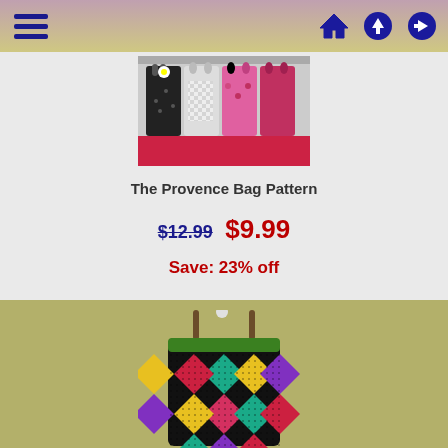[Figure (screenshot): Navigation bar with hamburger menu icon on left and home, upload, login icons on right]
[Figure (photo): Photo of multiple colorful tote bags hanging on a rack including black, pink, and patterned designs]
The Provence Bag Pattern
$12.99  $9.99
Save: 23% off
[Figure (photo): Photo of a quilted drawstring tote bag with colorful diamond/harlequin patchwork pattern in teal, yellow, pink, purple on black background with brown leather handles]